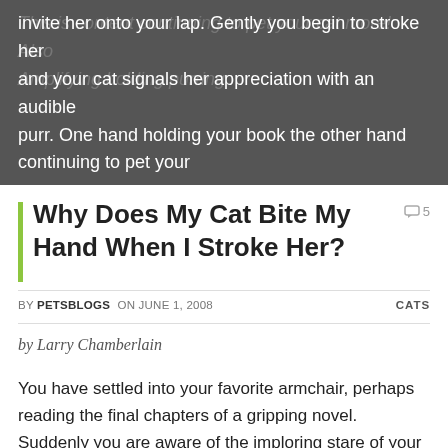[Figure (photo): Dark banner image with overlaid white text showing partial article content about a cat sitting on a lap]
Why Does My Cat Bite My Hand When I Stroke Her?
BY PETSBLOGS ON JUNE 1, 2008  CATS
by Larry Chamberlain
You have settled into your favorite armchair, perhaps reading the final chapters of a gripping novel. Suddenly you are aware of the imploring stare of your cat sitting at your feet. You invite her onto your lap. Gently you begin to stroke her and your cat